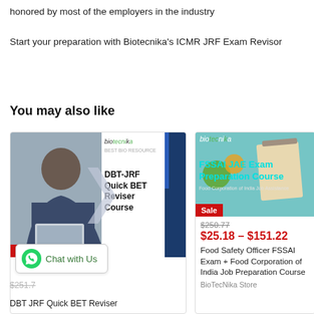honored by most of the employers in the industry
Start your preparation with Biotecnika's ICMR JRF Exam Revisor
You may also like
[Figure (photo): Product card for DBT-JRF Quick BET Reviser Course by BioTecnika, showing a woman working on a laptop, with Sale badge]
[Figure (photo): Product card for FSSAI JAE Exam Preparation Course by BioTecnika, showing food and clipboard imagery, with Sale badge]
Chat with Us
$250.77
$25.18 – $151.22
Food Safety Officer FSSAI Exam + Food Corporation of India Job Preparation Course
BioTecNika Store
DBT JRF Quick BET Reviser